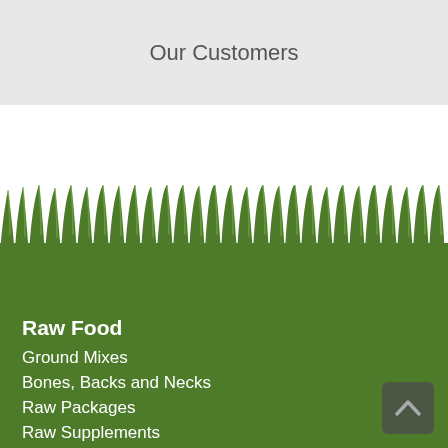Our Customers
[Figure (illustration): Green grass silhouette illustration at the top of a green menu section]
Raw Food
Ground Mixes
Bones, Backs and Necks
Raw Packages
Raw Supplements
Treats
Tripe Treats
Vital Essentials Freeze Dried
Nothing But . . . Treats